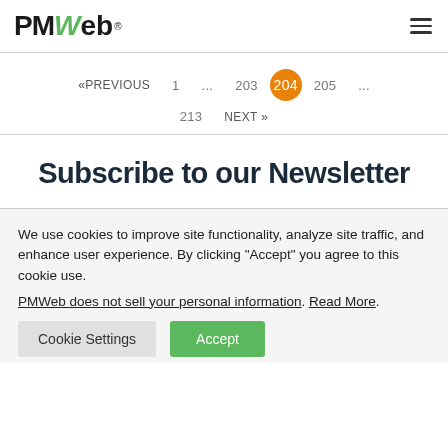PMWeb ® (logo with hamburger menu)
«PREVIOUS   1   ...   203   204   205   ...   213   NEXT »
Subscribe to our Newsletter
We use cookies to improve site functionality, analyze site traffic, and enhance user experience. By clicking "Accept" you agree to this cookie use.
PMWeb does not sell your personal information. Read More.
Cookie Settings   Accept